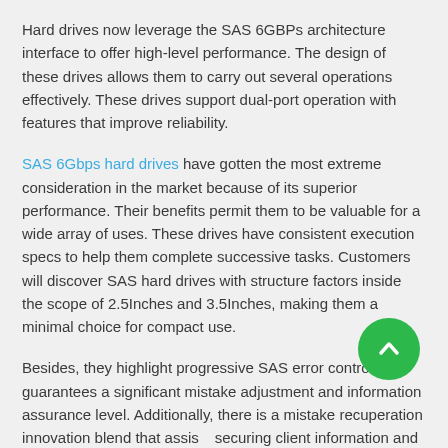Hard drives now leverage the SAS 6GBPs architecture interface to offer high-level performance. The design of these drives allows them to carry out several operations effectively. These drives support dual-port operation with features that improve reliability.
SAS 6Gbps hard drives have gotten the most extreme consideration in the market because of its superior performance. Their benefits permit them to be valuable for a wide array of uses. These drives have consistent execution specs to help them complete successive tasks. Customers will discover SAS hard drives with structure factors inside the scope of 2.5Inches and 3.5Inches, making them a minimal choice for compact use.
Besides, they highlight progressive SAS error control that guarantees a significant mistake adjustment and information assurance level. Additionally, there is a mistake recuperation innovation blend that assists securing client information and forestall loss of data.
The SAS 6Gbps accompanies a multi-way association, which gives space to failover excess. With this, clients